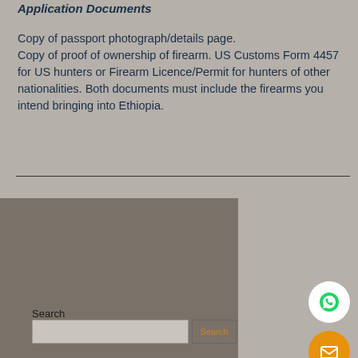Application Documents
Copy of passport photograph/details page.
Copy of proof of ownership of firearm. US Customs Form 4457 for US hunters or Firearm Licence/Permit for hunters of other nationalities. Both documents must include the firearms you intend bringing into Ethiopia.
[Figure (screenshot): Lower portion of webpage showing a dark grayish-brown panel on the left with a search label, search input field, and search button, plus a light gray area on the right with a WhatsApp icon button (white circle) and an email icon button (orange circle).]